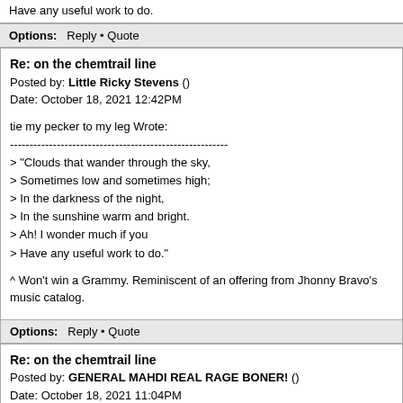Have any useful work to do.
Options: Reply • Quote
Re: on the chemtrail line
Posted by: Little Ricky Stevens ()
Date: October 18, 2021 12:42PM
tie my pecker to my leg Wrote:
--------------------------------------------------------
> "Clouds that wander through the sky,
> Sometimes low and sometimes high;
> In the darkness of the night,
> In the sunshine warm and bright.
> Ah! I wonder much if you
> Have any useful work to do."

^ Won't win a Grammy. Reminiscent of an offering from Jhonny Bravo's music catalog.
Options: Reply • Quote
Re: on the chemtrail line
Posted by: GENERAL MAHDI REAL RAGE BONER! ()
Date: October 18, 2021 11:04PM
Fuck my ass you obese butt plowboy
Options: Reply • Quote